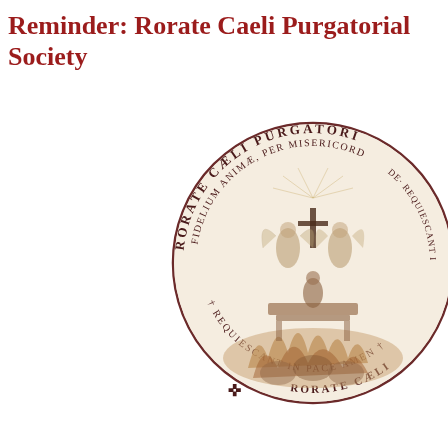Reminder: Rorate Caeli Purgatorial Society
[Figure (illustration): Circular seal of the Rorate Caeli Purgatorial Society. The seal features a detailed engraving of souls in purgatory with angels and a cross at top, surrounded by Latin text along the outer ring reading 'RORATE CAELI PURGATORI...' and inner ring 'FIDELIUM ANIMAE, PER MISERICORD... DE... REQUIESCANT IN PACE AMEN' with cross symbols at the bottom. The image is sepia/dark brown toned on white background. The seal is partially cropped at the right and bottom edges.]